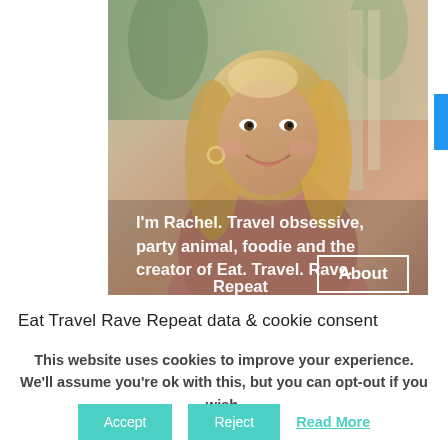[Figure (photo): Woman with blonde hair smiling, holding a drink, outdoors setting. Overlay text reads: I'm Rachel. Travel obsessive, party animal, foodie and the creator of Eat. Travel. Rave. Repeat. With an 'About' button in a white border box.]
Eat Travel Rave Repeat data & cookie consent
This website uses cookies to improve your experience. We'll assume you're ok with this, but you can opt-out if you wish.
Accept  Reject  Read More